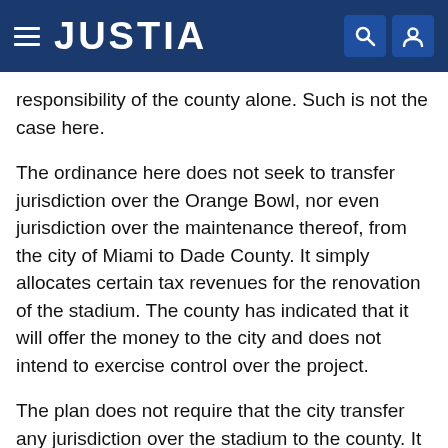JUSTIA
responsibility of the county alone. Such is not the case here.
The ordinance here does not seek to transfer jurisdiction over the Orange Bowl, nor even jurisdiction over the maintenance thereof, from the city of Miami to Dade County. It simply allocates certain tax revenues for the renovation of the stadium. The county has indicated that it will offer the money to the city and does not intend to exercise control over the project.
The plan does not require that the city transfer any jurisdiction over the stadium to the county. It is simply being asked to accept a grant of funds to be used for a particular purpose. Clearly the ordinances in Sarasota and here have entirely different purposes and effects, and while that in Sarasota violated article VIII, section 4,